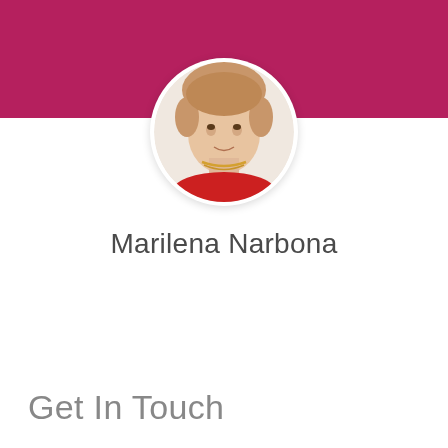[Figure (photo): Magenta/pink header banner background bar at the top of the page]
[Figure (photo): Circular profile photo of Marilena Narbona, a woman wearing a red top and gold necklace, with short hair, shown from shoulders up inside a white circular frame with shadow]
Marilena Narbona
View Profile
Get In Touch